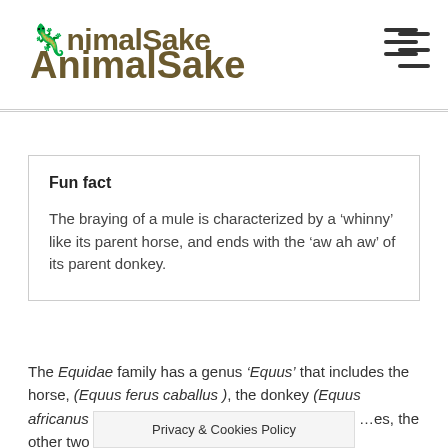AnimalSake
Fun fact
The braying of a mule is characterized by a ‘whinny’ like its parent horse, and ends with the ‘aw ah aw’ of its parent donkey.
The Equidae family has a genus ‘Equus’ that includes the horse, (Equus ferus caballus ), the donkey (Equus africanus a… …quus quagga). While the zebra… …es, the other two are
Privacy & Cookies Policy